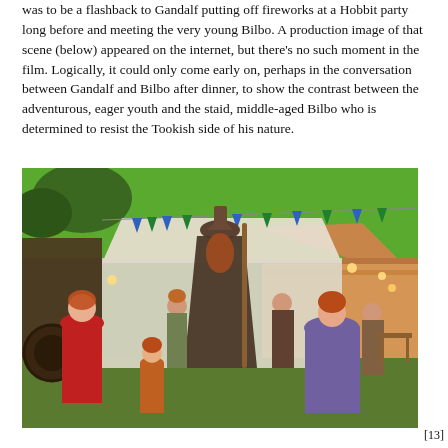was to be a flashback to Gandalf putting off fireworks at a Hobbit party long before and meeting the very young Bilbo. A production image of that scene (below) appeared on the internet, but there's no such moment in the film. Logically, it could only come early on, perhaps in the conversation between Gandalf and Bilbo after dinner, to show the contrast between the adventurous, eager youth and the staid, middle-aged Bilbo who is determined to resist the Tookish side of his nature.
[Figure (photo): Production image showing Gandalf in a wide-brimmed hat and long cloak standing among a crowd of Hobbits at a festive outdoor party with colorful bunting, tents, and warm lighting. Green screen visible in background. Hobbit women and children in period costume surround him.]
[13]